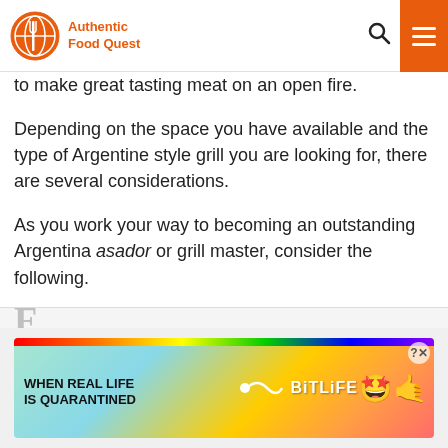Authentic Food Quest
to make great tasting meat on an open fire.
Depending on the space you have available and the type of Argentine style grill you are looking for, there are several considerations.
As you work your way to becoming an outstanding Argentina asador or grill master, consider the following.
[Figure (screenshot): Advertisement banner: WHEN REAL LIFE IS QUARANTINED - BitLife game ad with rainbow, sperm emoji, star-eyed emoji and thumbs up emoji. Has close button with question mark icon.]